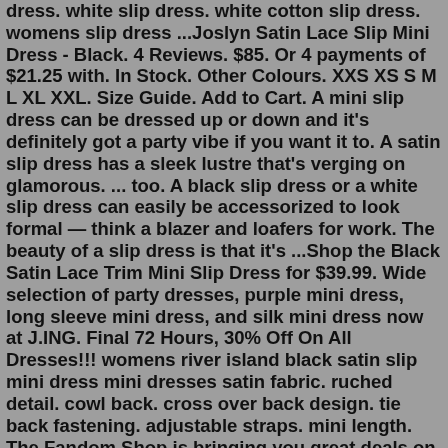dress. white slip dress. white cotton slip dress. womens slip dress ...Joslyn Satin Lace Slip Mini Dress - Black. 4 Reviews. $85. Or 4 payments of $21.25 with. In Stock. Other Colours. XXS XS S M L XL XXL. Size Guide. Add to Cart. A mini slip dress can be dressed up or down and it's definitely got a party vibe if you want it to. A satin slip dress has a sleek lustre that's verging on glamorous. ... too. A black slip dress or a white slip dress can easily be accessorized to look formal — think a blazer and loafers for work. The beauty of a slip dress is that it's ...Shop the Black Satin Lace Trim Mini Slip Dress for $39.99. Wide selection of party dresses, purple mini dress, long sleeve mini dress, and silk mini dress now at J.ING. Final 72 Hours, 30% Off On All Dresses!!! womens river island black satin slip mini dress mini dresses satin fabric. ruched detail. cowl back. cross over back design. tie back fastening. adjustable straps. mini length. The Fandom Shop is bringing you great deals on lots of River Island Dresses including Black Satin Slip Mini Dress - Black - River Island Dresses.Satin